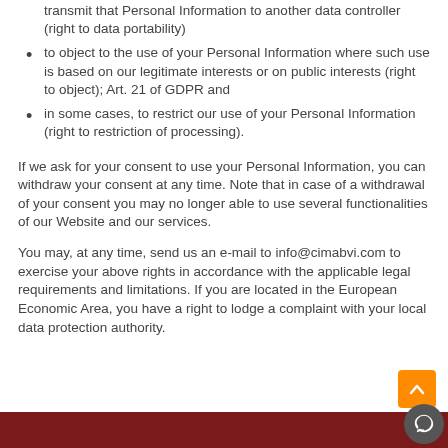transmit that Personal Information to another data controller (right to data portability)
to object to the use of your Personal Information where such use is based on our legitimate interests or on public interests (right to object); Art. 21 of GDPR and
in some cases, to restrict our use of your Personal Information (right to restriction of processing).
If we ask for your consent to use your Personal Information, you can withdraw your consent at any time. Note that in case of a withdrawal of your consent you may no longer able to use several functionalities of our Website and our services.
You may, at any time, send us an e-mail to info@cimabvi.com to exercise your above rights in accordance with the applicable legal requirements and limitations. If you are located in the European Economic Area, you have a right to lodge a complaint with your local data protection authority.